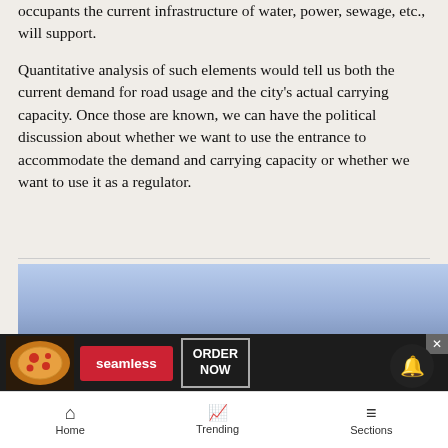occupants the current infrastructure of water, power, sewage, etc., will support.
Quantitative analysis of such elements would tell us both the current demand for road usage and the city's actual carrying capacity. Once those are known, we can have the political discussion about whether we want to use the entrance to accommodate the demand and carrying capacity or whether we want to use it as a regulator.
[Figure (photo): Advertisement banner for Seamless food delivery with pizza image, Seamless red button, and ORDER NOW button, overlaid on a landscape photo with blue sky]
Home   Trending   Sections